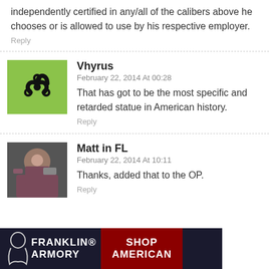independently certified in any/all of the calibers above he chooses or is allowed to use by his respective employer.
Reply
Vhyrus
February 22, 2014 At 00:28
That has got to be the most specific and retarded statue in American history.
Reply
Matt in FL
February 22, 2014 At 10:11
Thanks, added that to the OP.
Reply
[Figure (infographic): Franklin Armory advertisement banner with logo and 'Shop American' text]